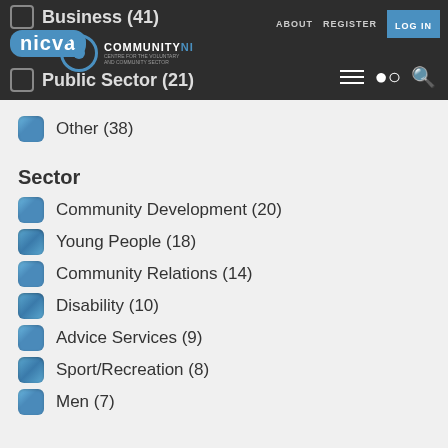nicva | ABOUT REGISTER LOG IN | COMMUNITYNI
Business (41)
Public Sector (21)
Other (38)
Sector
Community Development (20)
Young People (18)
Community Relations (14)
Disability (10)
Advice Services (9)
Sport/Recreation (8)
Men (7)